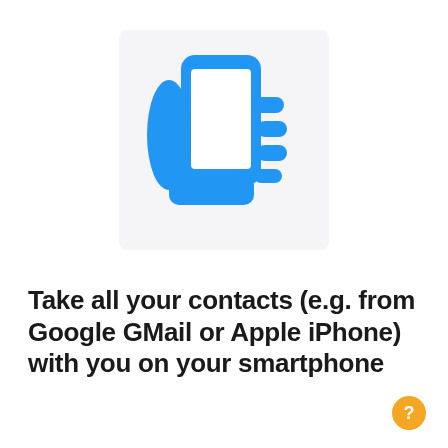[Figure (illustration): Blue icon of a hand holding a smartphone, displayed on a light gray rounded rectangle background.]
Take all your contacts (e.g. from Google GMail or Apple iPhone) with you on your smartphone
[Figure (other): Orange circular help button with a question mark icon, in the bottom-right corner.]